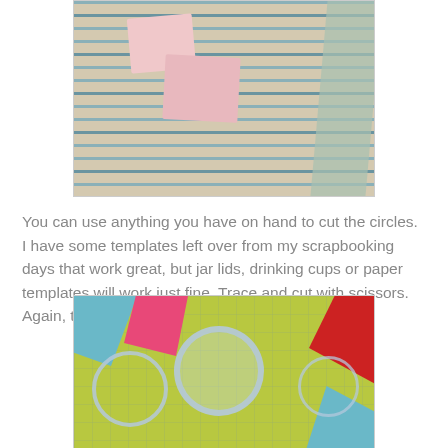[Figure (photo): Photo of pink fabric squares laid on top of striped cloth, with a teal/green frame visible on the right edge]
You can use anything you have on hand to cut the circles. I have some templates left over from my scrapbooking days that work great, but jar lids, drinking cups or paper templates will work just fine. Trace and cut with scissors. Again, the circle doesn't need to be too perfect.
[Figure (photo): Photo of colorful fabric pieces (teal with swirls, pink with dots, red with flowers) on a green cutting mat with clear circular templates placed on top for tracing circles]